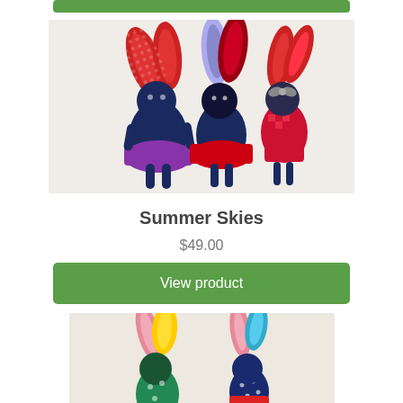[Figure (photo): Group of fabric bunny dolls with red patterned ears, navy blue bodies, and colorful skirts (purple, red, black with dots), arranged on a white surface]
Summer Skies
$49.00
View product
[Figure (photo): Group of fabric bunny dolls with colorful ears (pink, yellow, teal) and navy blue polka dot bodies with bright colored clothing, arranged on a white surface]